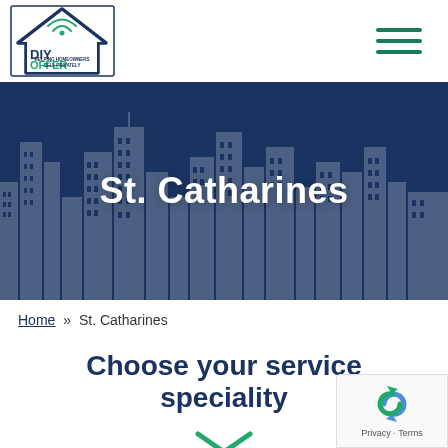[Figure (logo): DIY Offer logo — house outline with WiFi signal inside, 'DIY OFFER' text in green/dark blue, 'HELPING HOMEOWNERS SELL PRIVATELY' tagline below]
[Figure (illustration): Hamburger menu icon — three horizontal green lines]
[Figure (illustration): Hero banner with dark navy blue background and white city skyline silhouette illustration, large white bold text 'St. Catharines' centered]
Home » St. Catharines
Choose your service speciality
[Figure (illustration): Green double down-chevron / expand arrow icon]
[Figure (other): Google reCAPTCHA badge — blue/green recycle-arrows logo with 'Privacy · Terms' text below]